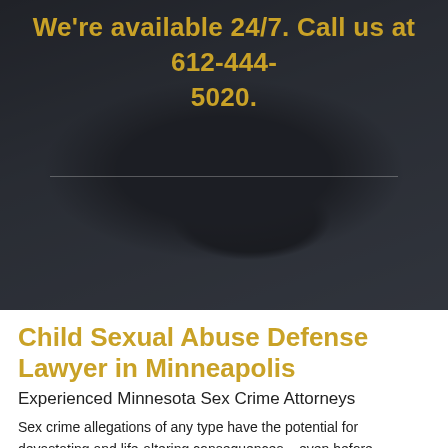[Figure (photo): Dark background photo of a judge's gavel on a desk, with a decorative separator line below the text overlay.]
We're available 24/7. Call us at 612-444-5020.
Child Sexual Abuse Defense Lawyer in Minneapolis
Experienced Minnesota Sex Crime Attorneys
Sex crime allegations of any type have the potential for devastating and life-altering consequences – even before suspects are charged or defendants